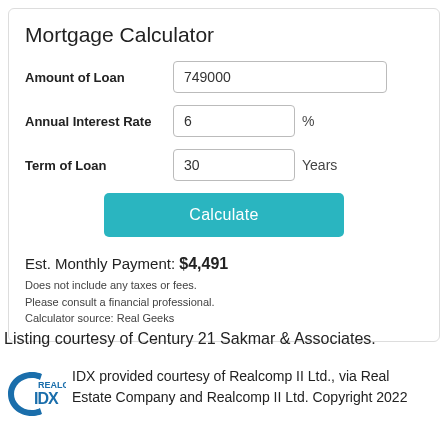Mortgage Calculator
Amount of Loan: 749000
Annual Interest Rate: 6 %
Term of Loan: 30 Years
Calculate
Est. Monthly Payment: $4,491
Does not include any taxes or fees.
Please consult a financial professional.
Calculator source: Real Geeks
Listing courtesy of Century 21 Sakmar & Associates.
[Figure (logo): Realcomp IDX logo with stylized C and IDX text]
IDX provided courtesy of Realcomp II Ltd., via Real Estate Company and Realcomp II Ltd. Copyright 2022